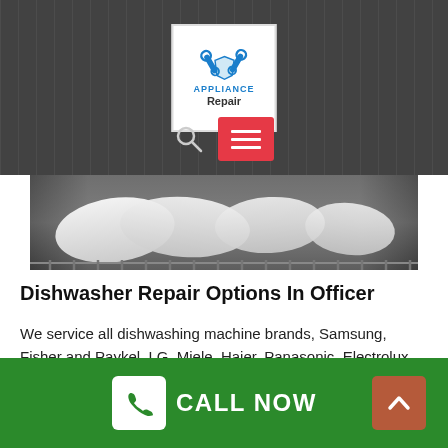[Figure (photo): Appliance Repair website screenshot showing a logo with wrench icons, navigation search and hamburger menu, and a photo of dishwasher interior with white plates on rack]
Dishwasher Repair Options In Officer
We service all dishwashing machine brands, Samsung, Fisher and Paykel, LG, Miele, Haier, Panasonic, Electrolux
CALL NOW